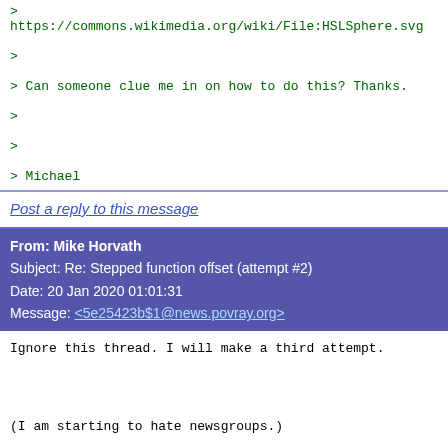> https://commons.wikimedia.org/wiki/File:HSLSphere.svg
>
> Can someone clue me in on how to do this? Thanks.
>
>
> Michael
Post a reply to this message
From: Mike Horvath
Subject: Re: Stepped function offset (attempt #2)
Date: 20 Jan 2020 01:01:31
Message: <5e25423b$1@news.povray.org>
Ignore this thread. I will make a third attempt.

(I am starting to hate newsgroups.)



On 1/20/2020 12:20 AM, Mike Horvath wrote:
> I have created the attached scene.
>
> It works well, except the pigment function needs to be off
> beginning and end of the gradients "CSolid_HSLSphere_Satur
> "CSolid_HSLSphere_Lightness". The end result is supposed t
>
> https://commons.wikimedia.org/wiki/File:HSLSphere.svg
>